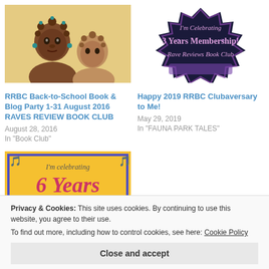[Figure (illustration): Two African girls with braided hair on a yellow background — book cover illustration]
[Figure (illustration): Dark spiky badge shape with text: I'm Celebrating 3 Years Membership! Rave Reviews Book Club, purple and black]
RRBC Back-to-School Book & Blog Party 1-31 August 2016 RAVES REVIEW BOOK CLUB
August 28, 2016
In "Book Club"
Happy 2019 RRBC Clubaversary to Me!
May 29, 2019
In "FAUNA PARK TALES"
[Figure (illustration): Orange/yellow banner with blue border, cursive text: I'm celebrating 6 Years of awesome membership with]
Privacy & Cookies: This site uses cookies. By continuing to use this website, you agree to their use.
To find out more, including how to control cookies, see here: Cookie Policy
Close and accept